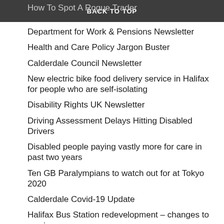How To Spot A Rogue Trader  BACK TO TOP
Department for Work & Pensions Newsletter
Health and Care Policy Jargon Buster
Calderdale Council Newsletter
New electric bike food delivery service in Halifax for people who are self-isolating
Disability Rights UK Newsletter
Driving Assessment Delays Hitting Disabled Drivers
Disabled people paying vastly more for care in past two years
Ten GB Paralympians to watch out for at Tokyo 2020
Calderdale Covid-19 Update
Halifax Bus Station redevelopment – changes to services
Covid-19 vaccine exemption pass
Disability Horizons Newsletter
Access to Work: factsheet & BSL video
Calderdale Staying Safe Domestic Abuse Support
Healthy Minds Activities, Groups & Sessions